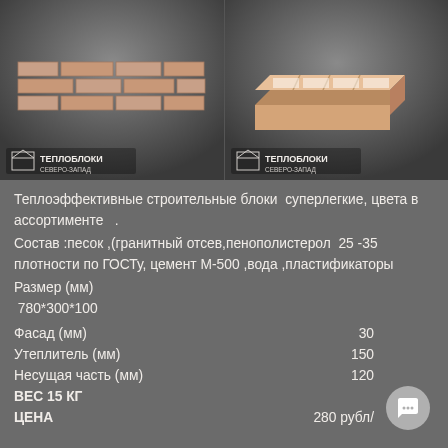[Figure (photo): Two product photos side by side: left shows a brick facade panel (terracotta/beige colored bricks), right shows a 3D hollow building block. Both photos have the ТЕПЛОБЛОКИ СЕВЕРО-ЗАПАД logo at the bottom left.]
Теплоэффективные строительные блоки  суперлегкие, цвета в ассортименте   .
Состав :песок ,(гранитный отсев,пенополистерол  25 -35 плотности по ГОСТу, цемент М-500 ,вода ,пластификаторы
Размер (мм)
 780*300*100
Фасад (мм)                    30
Утеплитель (мм)           150
Несущая часть (мм)     120
ВЕС 15 КГ
ЦЕНА                              280 рубл/